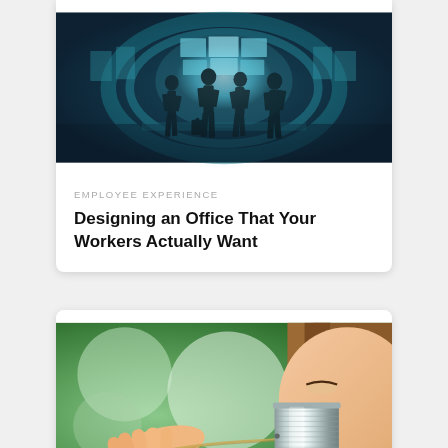[Figure (photo): Silhouettes of people walking through a futuristic blue-lit tunnel corridor with glowing panels on the walls]
EMPLOYEE EXPERIENCE
Designing an Office That Your Workers Actually Want
[Figure (photo): Close-up of a person holding a tin can telephone to their ear, with a blurred green outdoor background]